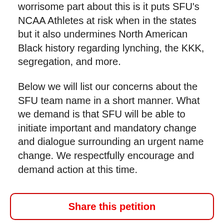worrisome part about this is it puts SFU's NCAA Athletes at risk when in the states but it also undermines North American Black history regarding lynching, the KKK, segregation, and more.
Below we will list our concerns about the SFU team name in a short manner. What we demand is that SFU will be able to initiate important and mandatory change and dialogue surrounding an urgent name change. We respectfully encourage and demand action at this time.
Considerations on the following SFU's team name:
It Puts Students and NCAA Athletes at risk: https://globalnews.ca/news/3766060/sfu-
Share this petition